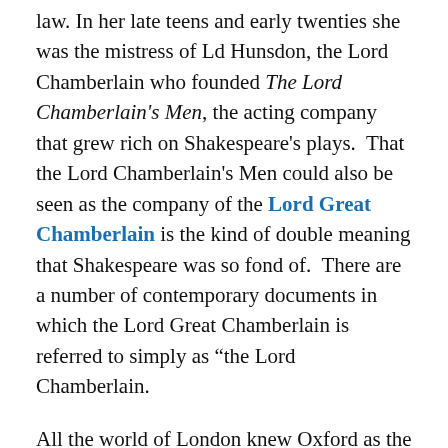law. In her late teens and early twenties she was the mistress of Ld Hunsdon, the Lord Chamberlain who founded The Lord Chamberlain's Men, the acting company that grew rich on Shakespeare's plays. That the Lord Chamberlain's Men could also be seen as the company of the Lord Great Chamberlain is the kind of double meaning that Shakespeare was so fond of. There are a number of contemporary documents in which the Lord Great Chamberlain is referred to simply as “the Lord Chamberlain.
All the world of London knew Oxford as the Lord Great Chamberlain, a title he was born to, one that represented 17 generations of support for the English Crown. They knew he’d been the Queen’s ward, that he was the son-in-law of the Queen’s Lord Treasurer, that he’d had the temerity to break off with his wife, Burghley’s daughter, and that he’d gotten one of the Queen’s maids of honor with child for which he’d been